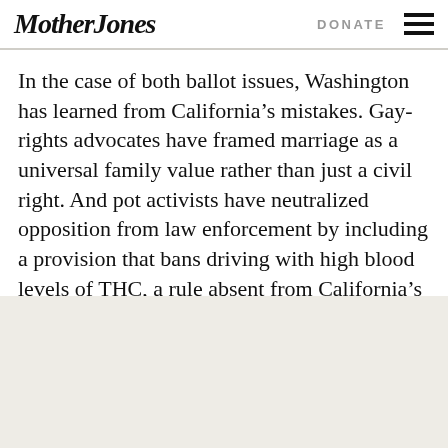Mother Jones   DONATE
In the case of both ballot issues, Washington has learned from California’s mistakes. Gay-rights advocates have framed marriage as a universal family value rather than just a civil right. And pot activists have neutralized opposition from law enforcement by including a provision that bans driving with high blood levels of THC, a rule absent from California’s Prop. 19.